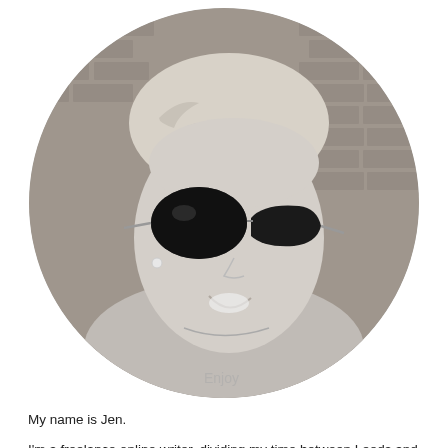[Figure (photo): Black and white circular portrait photo of a young woman with braided hair and large dark cat-eye sunglasses, smiling, wearing a casual grey top with 'Enjoy' text, pearl earring visible, brick wall background.]
My name is Jen.
I'm a freelance online writer, dividing my time between Leeds and London (and